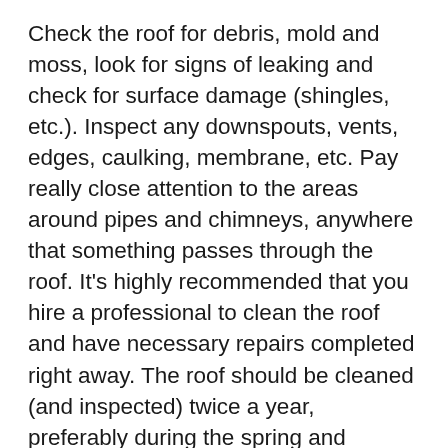Check the roof for debris, mold and moss, look for signs of leaking and check for surface damage (shingles, etc.). Inspect any downspouts, vents, edges, caulking, membrane, etc. Pay really close attention to the areas around pipes and chimneys, anywhere that something passes through the roof. It's highly recommended that you hire a professional to clean the roof and have necessary repairs completed right away. The roof should be cleaned (and inspected) twice a year, preferably during the spring and autumn months.
2. Check the Gutters
Check your gutters regularly. Gutter systems have been designed to keep water away